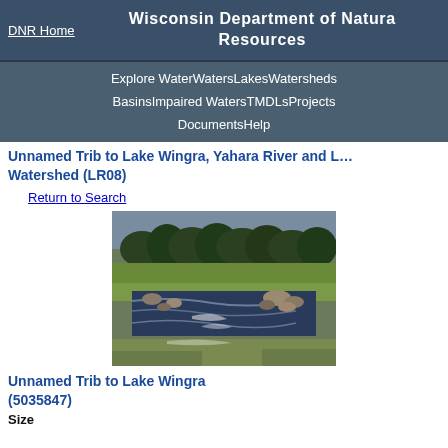DNR Home | Wisconsin Department of Natural Resources
Explore Water  Waters  Lakes  Watersheds  Basins  Impaired Waters  TMDLs  Projects  Documents  Help
Unnamed Trib to Lake Wingra, Yahara River and L… Watershed (LR08)
Return to Search
[Figure (photo): Photo of a rocky stream with flowing water, surrounded by green grass and trees in the background.]
Unnamed Trib to Lake Wingra (5035847)
Size